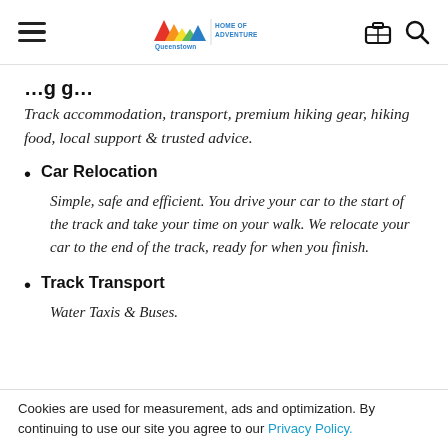Queenstown Home of Adventure — navigation header
Track accommodation, transport, premium hiking gear, hiking food, local support & trusted advice.
Car Relocation — Simple, safe and efficient. You drive your car to the start of the track and take your time on your walk. We relocate your car to the end of the track, ready for when you finish.
Track Transport — Water Taxis & Buses.
Cookies are used for measurement, ads and optimization. By continuing to use our site you agree to our Privacy Policy.